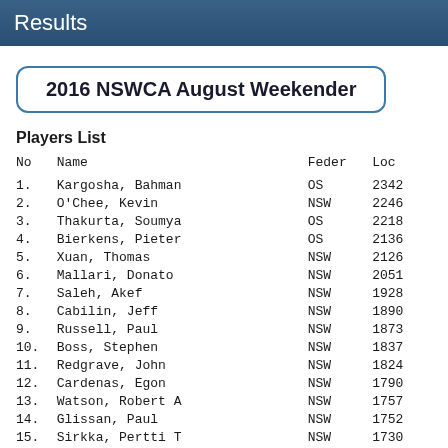Results
2016 NSWCA August Weekender
Players List
| No | Name | Feder | Loc |
| --- | --- | --- | --- |
| 1. | Kargosha, Bahman | OS | 2342 |
| 2. | O'Chee, Kevin | NSW | 2246 |
| 3. | Thakurta, Soumya | OS | 2218 |
| 4. | Bierkens, Pieter | OS | 2136 |
| 5. | Xuan, Thomas | NSW | 2126 |
| 6. | Mallari, Donato | NSW | 2051 |
| 7. | Saleh, Akef | NSW | 1928 |
| 8. | Cabilin, Jeff | NSW | 1890 |
| 9. | Russell, Paul | NSW | 1873 |
| 10. | Boss, Stephen | NSW | 1837 |
| 11. | Redgrave, John | NSW | 1824 |
| 12. | Cardenas, Egon | NSW | 1790 |
| 13. | Watson, Robert A | NSW | 1757 |
| 14. | Glissan, Paul | NSW | 1752 |
| 15. | Sirkka, Pertti T | NSW | 1730 |
| 16. | Chan, Anthony | NSW | 1721 |
| 17. | Hagist, Fred M | NSW | 1713 |
| 18. | Jain, Kamal | NSW | 1677 |
| 19. | Marsh, Luke | NSW | 1641 |